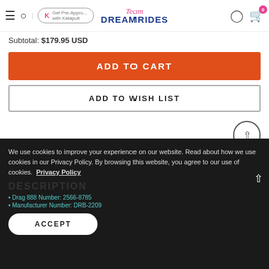Team DreamRides - Get Pre-Approved with Katapult
Subtotal: $179.95 USD
ADD TO CART
ADD TO WISH LIST
[Figure (logo): Facebook logo icon (blue square with white f)]
We use cookies to improve your experience on our website. Read about how we use cookies in our Privacy Policy. By browsing this website, you agree to our use of cookies. Privacy Policy
DESCRIPTION
Drag 888 Number: 2566-8785
Manufacturer Number: DRB-2209
ACCEPT